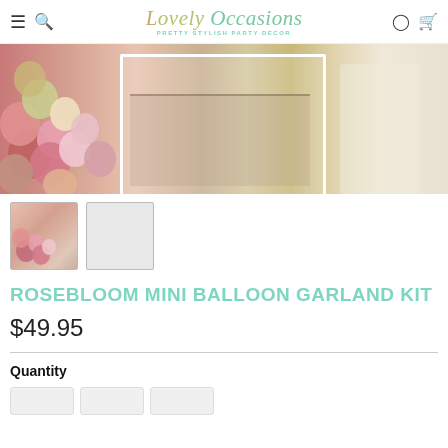Lovely Occasions — PRETTY STYLISH PARTY DECOR
[Figure (photo): Balloon garland kit with pink, mauve, rose gold, white, and gold balloons arranged on a white bar cart with cupcakes and party decor]
[Figure (photo): Thumbnail 1: small product image of balloon garland kit]
[Figure (other): Thumbnail 2: light gray placeholder image]
ROSEBLOOM MINI BALLOON GARLAND KIT
$49.95
Quantity